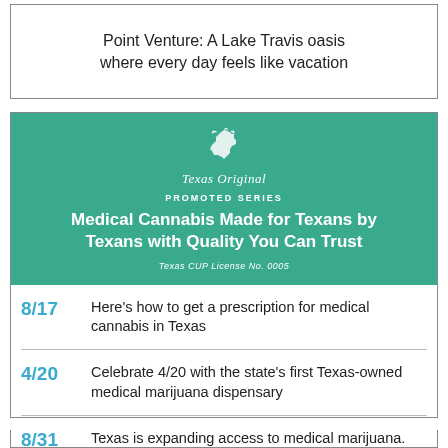Point Venture: A Lake Travis oasis where every day feels like vacation
[Figure (illustration): Texas Original promoted series advertisement banner with teal background, Texas Original logo with Texas state shape and leaf motif, 'PROMOTED SERIES' label, headline 'Medical Cannabis Made for Texans by Texans with Quality You Can Trust', and 'Texas CUP License No. 0005']
8/17  Here's how to get a prescription for medical cannabis in Texas
4/20  Celebrate 4/20 with the state's first Texas-owned medical marijuana dispensary
8/31  Texas is expanding access to medical marijuana. Do you qualify?